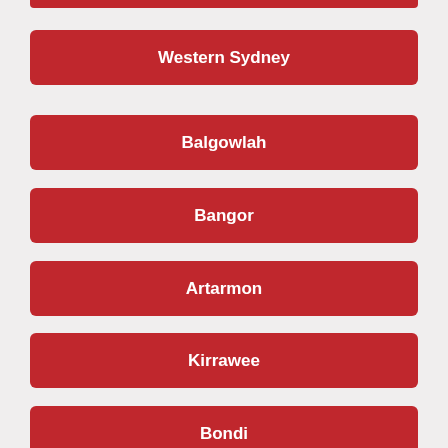Western Sydney
Balgowlah
Bangor
Artarmon
Kirrawee
Bondi